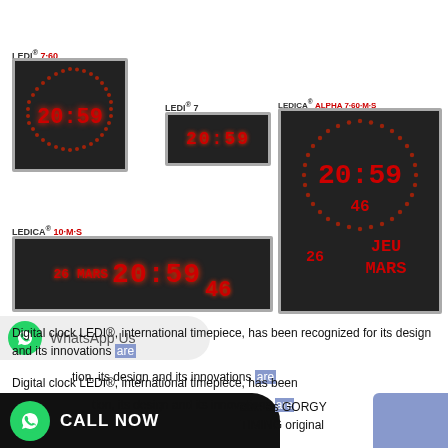[Figure (photo): Product display of multiple GORGY TIMING digital LED clocks: LEDI 7-60 (square with circular dot ring), LEDI 7 (small rectangular), LEDICA ALPHA 7-60-M-S (tall rectangular with circular dot ring, date/time/day), LEDICA 10-M-S (wide rectangular with date, time, seconds). All showing 20:59 time, 26 MARS, JEU.]
Digital clock LEDI®, international timepiece, has been [recognized for] its design and its innovations are [protect]able as GORGY TIMING original